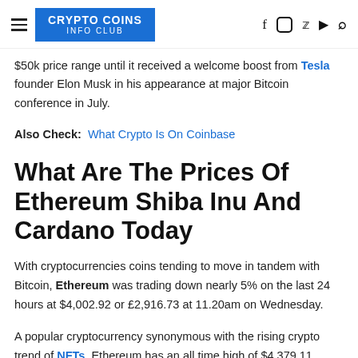CRYPTO COINS INFO CLUB
$50k price range until it received a welcome boost from Tesla founder Elon Musk in his appearance at major Bitcoin conference in July.
Also Check: What Crypto Is On Coinbase
What Are The Prices Of Ethereum Shiba Inu And Cardano Today
With cryptocurrencies coins tending to move in tandem with Bitcoin, Ethereum was trading down nearly 5% on the last 24 hours at $4,002.92 or £2,916.73 at 11.20am on Wednesday.
A popular cryptocurrency synonymous with the rising crypto trend of NFTs. Ethereum has an all time high of $4,379.11.